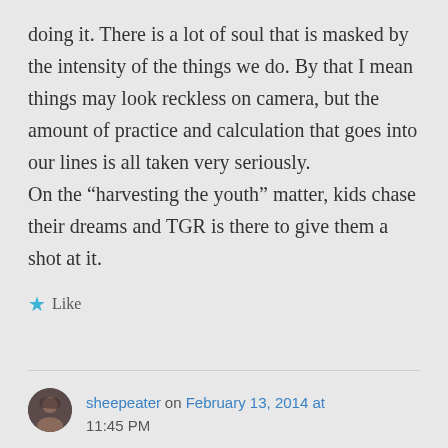doing it. There is a lot of soul that is masked by the intensity of the things we do. By that I mean things may look reckless on camera, but the amount of practice and calculation that goes into our lines is all taken very seriously. On the “harvesting the youth” matter, kids chase their dreams and TGR is there to give them a shot at it.
Like
sheepeater on February 13, 2014 at 11:45 PM